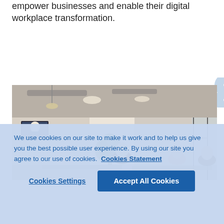empower businesses and enable their digital workplace transformation.
[Figure (photo): Office scene with people seated at tables in a modern open-plan workspace with industrial ceiling, plants, and glass partitions. A video conference screen is visible on the left wall.]
We use cookies on our site to make it work and to help us give you the best possible user experience. By using our site you agree to our use of cookies. Cookies Statement
Cookies Settings   Accept All Cookies